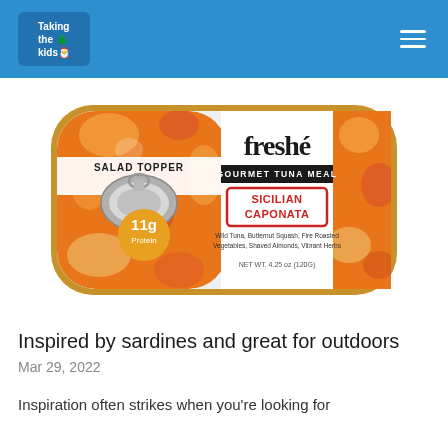Taking the kids
[Figure (photo): Freshe Gourmet Tuna Meal - Sicilian Caponata product can. Salad Topper label, 11g Protein, Wild Tuna, Butternut Squash, Fire Roasted Vegetables, Shaved Almonds, Vibrant Herbs. NET WT. 4.25 oz (120G)]
Inspired by sardines and great for outdoors
Mar 29, 2022
Inspiration often strikes when you're looking for